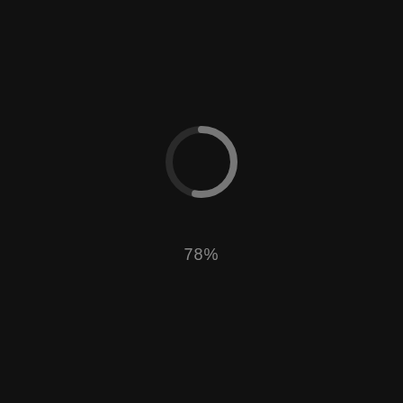[Figure (other): A circular loading/progress spinner ring drawn in dark gray on a near-black background. The ring is mostly complete with a small gap at the bottom-left, indicating approximately 78% progress. Below the spinner is the text '78%' in gray.]
78%